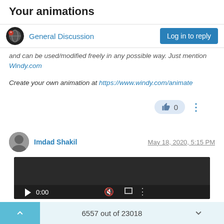Your animations
General Discussion
Log in to reply
and can be used/modified freely in any possible way. Just mention Windy.com
Create your own animation at https://www.windy.com/animate
0
Imdad Shakil
May 18, 2020, 5:15 PM
[Figure (screenshot): Embedded video player with dark background, showing 0:00 timestamp, play button, mute icon, fullscreen icon, and more options icon. A progress bar is visible at the bottom.]
6557 out of 23018